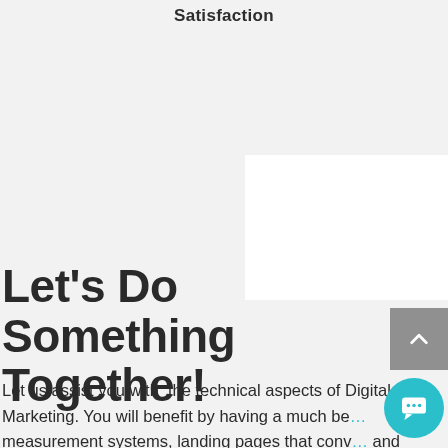Satisfaction
[Figure (other): White panel / decorative background element in upper right area]
Let's Do Something Together!
Let us assist you with  the technical aspects of Digital Marketing. You will benefit by having a much be… measurement systems, landing pages that conv… and
[Figure (other): Gray scroll-to-top button with upward chevron arrow]
[Figure (other): Teal/cyan circular chat bubble button]